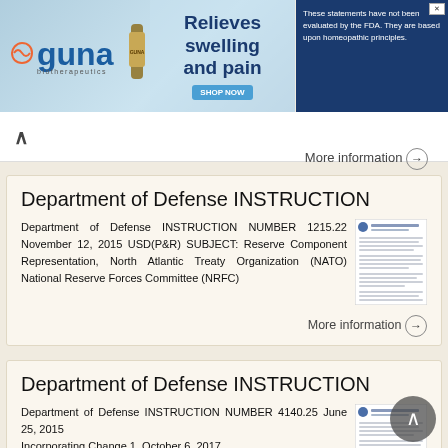[Figure (other): GUNA biotherapeutics advertisement banner. Text: Relieves swelling and pain. SHOP NOW button. Disclaimer text about FDA evaluation and homeopathic principles.]
More information →
Department of Defense INSTRUCTION
Department of Defense INSTRUCTION NUMBER 1215.22 November 12, 2015 USD(P&R) SUBJECT: Reserve Component Representation, North Atlantic Treaty Organization (NATO) National Reserve Forces Committee (NRFC)
More information →
Department of Defense INSTRUCTION
Department of Defense INSTRUCTION NUMBER 4140.25 June 25, 2015 Incorporating Change 1, October 6, 2017